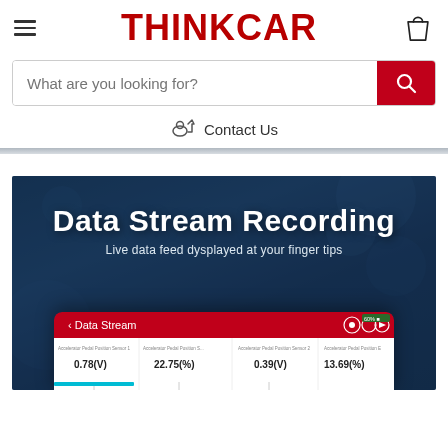THINKCAR
What are you looking for?
Contact Us
[Figure (screenshot): THINKCAR product page screenshot showing Data Stream Recording feature with subtitle 'Live data feed dysplayed at your finger tips' and a partial screenshot of a Data Stream UI panel showing sensor values like 0.78(V), 22.75(%), 0.39(V), 13.69(%)]